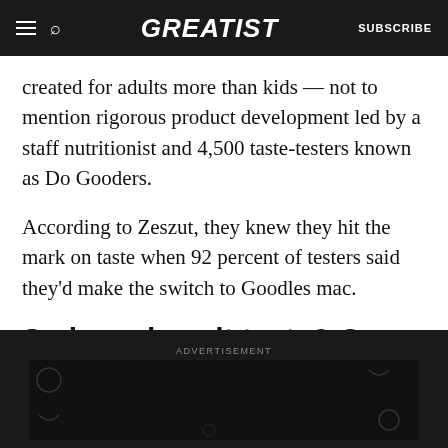GREATIST | SUBSCRIBE
created for adults more than kids — not to mention rigorous product development led by a staff nutritionist and 4,500 taste-testers known as Do Gooders.
According to Zeszut, they knew they hit the mark on taste when 92 percent of testers said they'd make the switch to Goodles mac.
So how does it taste? Our complete review
[Figure (screenshot): Advertisement banner: Let's be friends with (health) benefits. Follow GREATIST on Instagram. FOLLOW US button.]